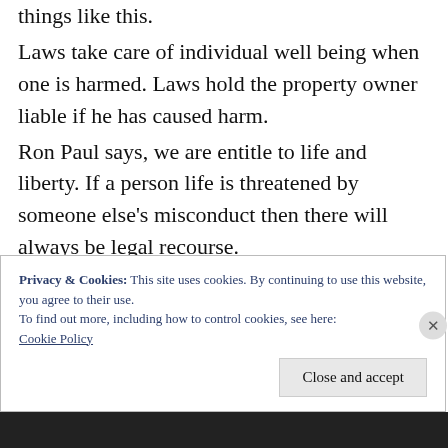things like this.
Laws take care of individual well being when one is harmed. Laws hold the property owner liable if he has caused harm.
Ron Paul says, we are entitle to life and liberty. If a person life is threatened by someone else's misconduct then there will always be legal recourse.
Property rights protect the owner.
Individual rights protect the renter.
Privacy & Cookies: This site uses cookies. By continuing to use this website, you agree to their use.
To find out more, including how to control cookies, see here: Cookie Policy